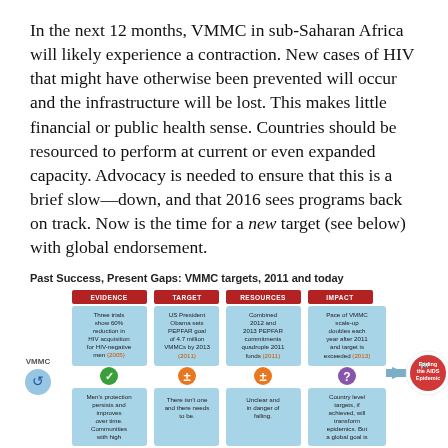In the next 12 months, VMMC in sub-Saharan Africa will likely experience a contraction. New cases of HIV that might have otherwise been prevented will occur and the infrastructure will be lost. This makes little financial or public health sense. Countries should be resourced to perform at current or even expanded capacity. Advocacy is needed to ensure that this is a brief slow—down, and that 2016 sees programs back on track. Now is the time for a new target (see below) with global endorsement.
Past Success, Present Gaps: VMMC targets, 2011 and today
[Figure (infographic): VMMC infographic showing four columns labeled EVIDENCE, TARGET, RESOURCES, IMPACT with top and bottom text boxes in light blue. Top row: Three trials show 60% reduction in HIV acquisition for HIV-negative men (2005); US President Obama sets PEPFAR goal of 4.7 million VMMCs by 2013 (2011); Combined 2012 and 2013 PEPFAR commitments quadruple 2011 funds (2011); Pace of VMMC scale-up doubles each year after 2011 and target is exceeded (2013). Middle row shows icons: green checkmark, orange plus/minus, orange plus/minus, purple question mark. Bottom row: Men's protection persists and improves over time. Communities with high coverage are seeing incidence...; There isn't one and there needs to be.; Unclear and in danger of falling.; Country level targets, if achieved, will transform epidemics. But a global goal is needed to stay... Arrow pointing right to 'Ending the AIDS Epidemic' in red circle.]